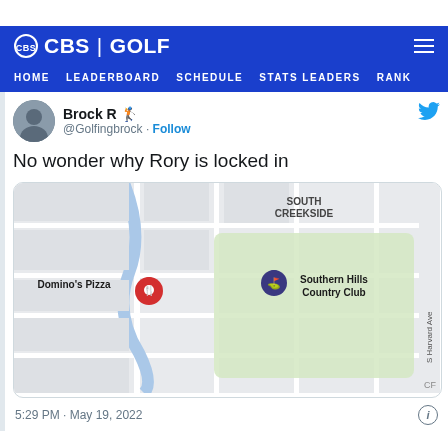CBS | GOLF
HOME   LEADERBOARD   SCHEDULE   STATS LEADERS   RANK
Brock R 🏌️ @Golfingbrock · Follow
No wonder why Rory is locked in
[Figure (screenshot): Google Maps screenshot showing Domino's Pizza and Southern Hills Country Club pins near South Creekside area, with S Harvard Ave on the right.]
5:29 PM · May 19, 2022